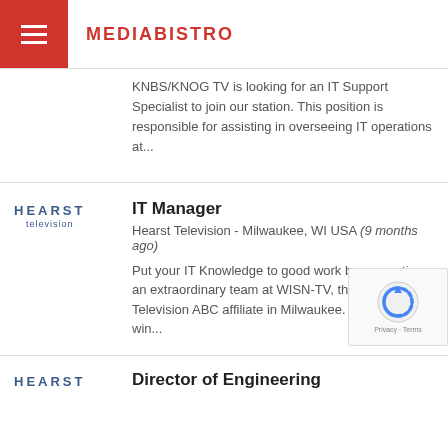MEDIABISTRO
KNBS/KNOG TV is looking for an IT Support Specialist to join our station. This position is responsible for assisting in overseeing IT operations at...
IT Manager
Hearst Television - Milwaukee, WI USA (9 months ago)
Put your IT Knowledge to good work by supporting an extraordinary team at WISN-TV, the Hearst Television ABC affiliate in Milwaukee. Our award-win...
Director of Engineering